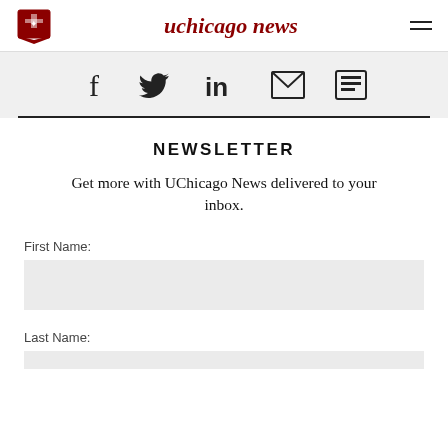uchicago news
[Figure (infographic): Social media icons: Facebook, Twitter, LinkedIn, Email, RSS/news]
NEWSLETTER
Get more with UChicago News delivered to your inbox.
First Name:
Last Name: